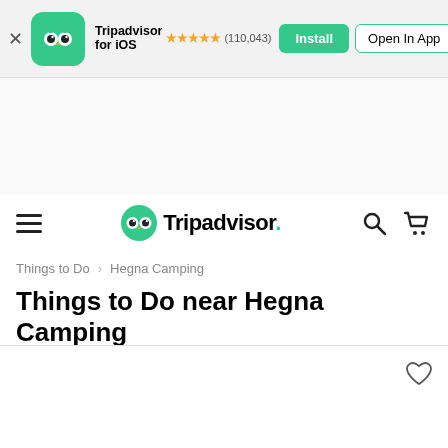[Figure (screenshot): Tripadvisor app install banner with owl logo icon, star rating, Install and Open In App buttons]
[Figure (logo): Tripadvisor navigation bar with hamburger menu, Tripadvisor owl logo and wordmark, search and cart icons]
Things to Do  Hegna Camping
Things to Do near Hegna Camping
[Figure (illustration): Heart/save icon in upper right of content area]